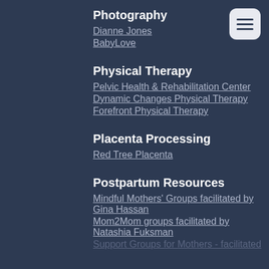Photography
Dianne Jones
BabyLove
Physical Therapy
Pelvic Health & Rehabilitation Center
Dynamic Changes Physical Therapy
Forefront Physical Therapy
Placenta Processing
Red Tree Placenta
Postpartum Resources
Mindful Mothers' Groups facilitated by Gina Hassan
Mom2Mom groups facilitated by Natashia Fuksman
Support Groups for Mothers - facilitated